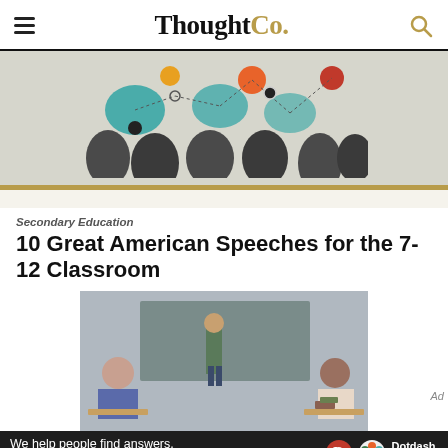ThoughtCo.
[Figure (illustration): Colorful illustration of dark silhouetted human head profiles with colorful speech bubbles and network connection lines above them, on a light background.]
Secondary Education
10 Great American Speeches for the 7-12 Classroom
[Figure (photo): Classroom photo showing students at desks from behind, facing a standing teacher or student presenter at the front of the room near a chalkboard.]
We help people find answers, solve problems and get inspired.